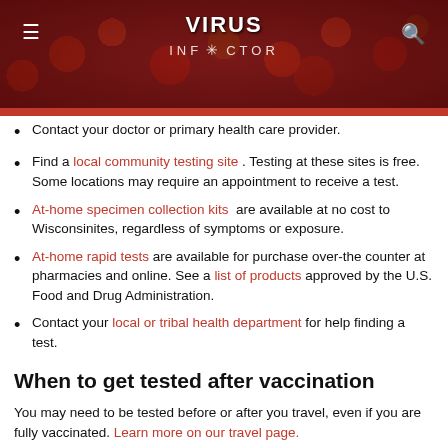VIRUS INFECTOR CLUB
Contact your doctor or primary health care provider.
Find a local community testing site. Testing at these sites is free. Some locations may require an appointment to receive a test.
At-home specimen collection kits are available at no cost to Wisconsinites, regardless of symptoms or exposure.
At-home rapid tests are available for purchase over-the counter at pharmacies and online. See a list of products approved by the U.S. Food and Drug Administration.
Contact your local or tribal health department for help finding a test.
When to get tested after vaccination
You may need to be tested before or after you travel, even if you are fully vaccinated. Learn more on our travel page.